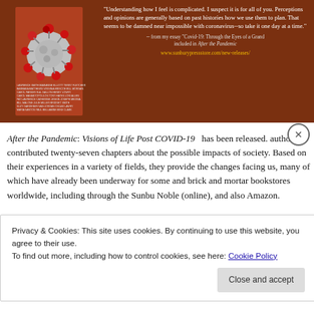[Figure (illustration): Brown-background promotional banner for the book 'After the Pandemic'. Left side shows a coronavirus particle illustration in red/grey. Right side shows a pull quote in white text and a URL in gold.]
After the Pandemic: Visions of Life Post COVID-19 has been released. authors contributed twenty-seven chapters about the possible impacts of society. Based on their experiences in a variety of fields, they provide the changes facing us, many of which have already been underway for some and brick and mortar bookstores worldwide, including through the Sunbu Noble (online), and also Amazon.
Privacy & Cookies: This site uses cookies. By continuing to use this website, you agree to their use.
To find out more, including how to control cookies, see here: Cookie Policy